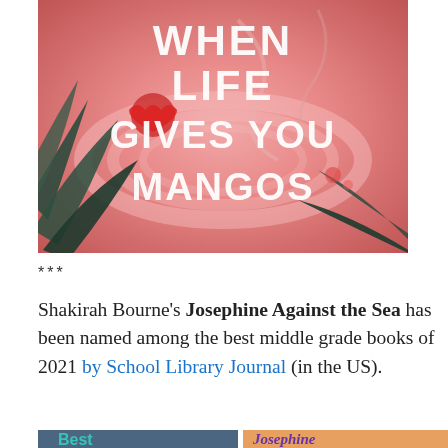[Figure (illustration): Book cover of 'When Life Gives You Mangos' with pink tropical water background, palm leaves, and white hand-lettered title text]
***
Shakirah Bourne's Josephine Against the Sea has been named among the best middle grade books of 2021 by School Library Journal (in the US).
[Figure (illustration): Partial view of two book covers side by side: left shows dark blue background with teal text starting 'Best...', right shows orange/warm background with purple text starting 'Josephine...']